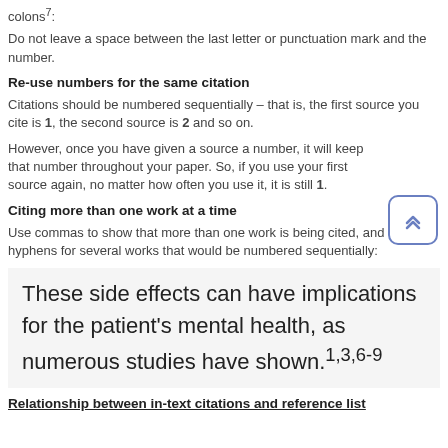colons⁷:
Do not leave a space between the last letter or punctuation mark and the number.
Re-use numbers for the same citation
Citations should be numbered sequentially – that is, the first source you cite is 1, the second source is 2 and so on.
However, once you have given a source a number, it will keep that number throughout your paper. So, if you use your first source again, no matter how often you use it, it is still 1.
Citing more than one work at a time
Use commas to show that more than one work is being cited, and use hyphens for several works that would be numbered sequentially:
These side effects can have implications for the patient's mental health, as numerous studies have shown.¹³⁶⁻⁹
Relationship between in-text citations and reference list